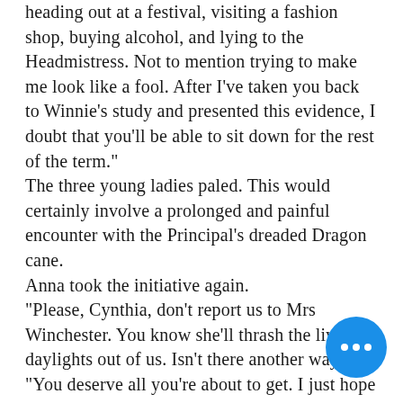...heading out at a festival, visiting a fashion shop, buying alcohol, and lying to the Headmistress. Not to mention trying to make me look like a fool. After I've taken you back to Winnie's study and presented this evidence, I doubt that you'll be able to sit down for the rest of the term." The three young ladies paled. This would certainly involve a prolonged and painful encounter with the Principal's dreaded Dragon cane. Anna took the initiative again. "Please, Cynthia, don't report us to Mrs Winchester. You know she'll thrash the living daylights out of us. Isn't there another way?" "You deserve all you're about to get. I just hope she'll allow me to stay and watch!" Cynthia had inadvertently given away her Achilles Heel: she rather enjoyed the whole process of corporal punishment, providing she wasn't on the receiving end of course. Anna was well aware of this